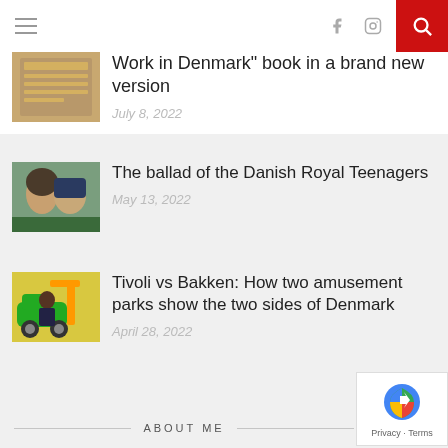Navigation bar with hamburger menu, social icons (Facebook, Instagram), and search button
Work in Denmark" book in a brand new version
July 8, 2022
The ballad of the Danish Royal Teenagers
May 13, 2022
Tivoli vs Bakken: How two amusement parks show the two sides of Denmark
April 28, 2022
ABOUT ME